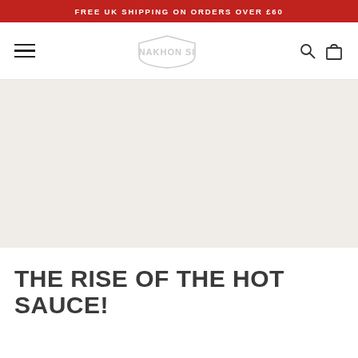FREE UK SHIPPING ON ORDERS OVER £60
[Figure (logo): Website navigation bar with hamburger menu icon on left, brand logo in center (stylized text logo), and search and shopping bag icons on right]
[Figure (illustration): Large hero image area with light beige/off-white background, content not visible]
THE RISE OF THE HOT SAUCE!